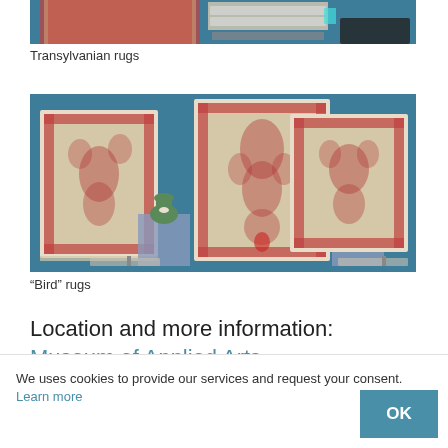[Figure (photo): Museum display of Transylvanian rugs hanging on a teal/blue wall, partial view at top of page]
Transylvanian rugs
[Figure (photo): Museum display of three 'Bird' rugs hanging on a teal/blue wall, with decorative vases on pedestals between the rugs]
“Bird” rugs
Location and more information: Museum of Applied Arts,
We uses cookies to provide our services and request your consent. Learn more